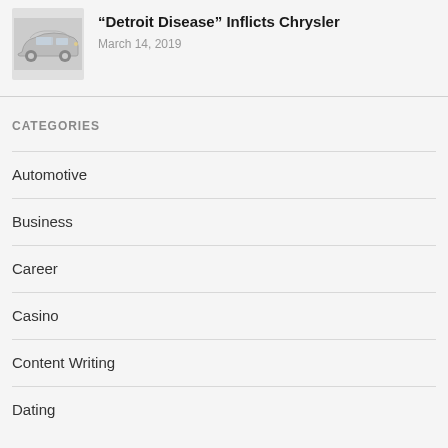[Figure (photo): Thumbnail image of a silver car viewed from the side/front angle]
“Detroit Disease” Inflicts Chrysler
March 14, 2019
CATEGORIES
Automotive
Business
Career
Casino
Content Writing
Dating